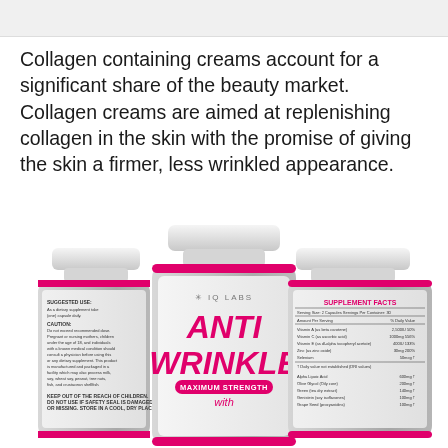Collagen containing creams account for a significant share of the beauty market. Collagen creams are aimed at replenishing collagen in the skin with the promise of giving the skin a firmer, less wrinkled appearance.
[Figure (photo): Three bottles of IQ Labs Anti Wrinkle Maximum Strength supplement shown from different angles: left bottle shows usage/caution label, center bottle shows front label with pink branding and logo, right bottle shows supplement facts panel.]